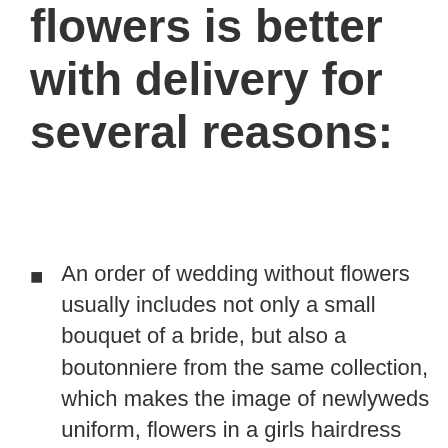flowers is better with delivery for several reasons:
An order of wedding without flowers usually includes not only a small bouquet of a bride, but also a boutonniere from the same collection, which makes the image of newlyweds uniform, flowers in a girls hairdress guarantee the perfection of an image, the brides duplicate bouquet will be used for throwing, rose petals will add romance, wedding bouquets for decoration of a celebration will please with a delicate aroma and provide an impeccable background for photo and